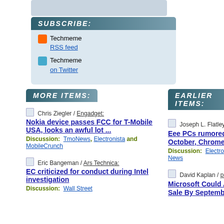[Figure (other): Grey placeholder image at top]
SUBSCRIBE:
Techmeme RSS feed
Techmeme on Twitter
MORE ITEMS:
EARLIER ITEMS:
Chris Ziegler / Engadget: Nokia device passes FCC for T-Mobile USA, looks an awful lot ... Discussion: TmoNews, Electronista and MobileCrunch
Eric Bangeman / Ars Technica: EC criticized for conduct during Intel investigation Discussion: Wall Street
Joseph L. Flatley / Engadget: Eee PCs rumored to ship with Moblin in October, Chrome OS on the horizon Discussion: Electronista, TechSpot and I4U News
David Kaplan / paidContent: Microsoft Could Announce Razorfish Sale By September; Publicis, WPP Ple...